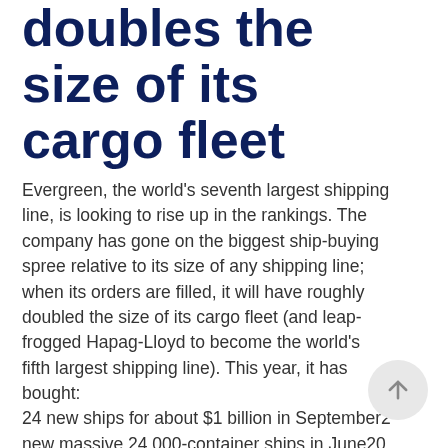doubles the size of its cargo fleet
Evergreen, the world's seventh largest shipping line, is looking to rise up in the rankings. The company has gone on the biggest ship-buying spree relative to its size of any shipping line; when its orders are filled, it will have roughly doubled the size of its cargo fleet (and leap-frogged Hapag-Lloyd to become the world's fifth largest shipping line). This year, it has bought: 24 new ships for about $1 billion in September2 new massive 24,000-container ships in June20 new 24,000-container ships in March for $2.6 billion